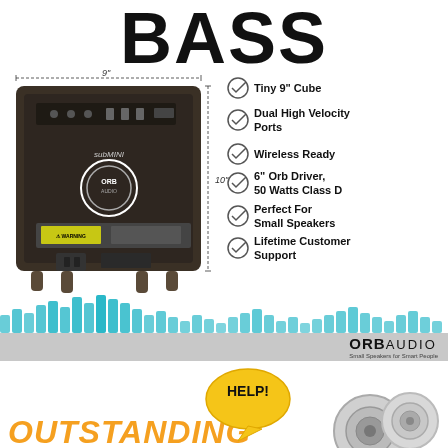BASS
[Figure (infographic): ORB Audio subMINI subwoofer shown from rear/back panel, annotated with 9-inch width and 10-inch height dimensions, alongside a feature checklist.]
Tiny 9" Cube
Dual High Velocity Ports
Wireless Ready
6" Orb Driver, 50 Watts Class D
Perfect For Small Speakers
Lifetime Customer Support
[Figure (logo): ORB AUDIO logo with tagline 'Small Speakers for Smart People' on a grey banner]
[Figure (illustration): Bottom section showing a yellow speech bubble with 'HELP!' text, partial view of speaker/headphone circles, and the word OUTSTANDING in orange italic bold at bottom left]